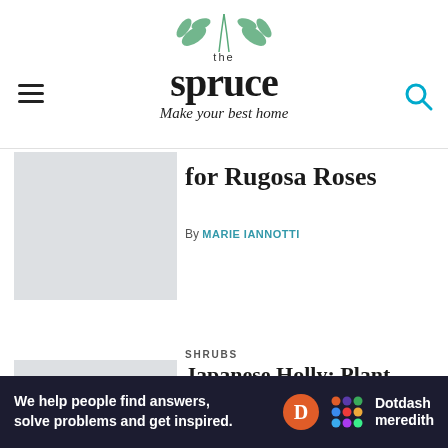the spruce — Make your best home
for Rugosa Roses
By MARIE IANNOTTI
SHRUBS
Japanese Holly: Plant Care & Growing Guide
By DAVID BEAULIEU
ROSES
How to Get More Blooms From Your Roses
We help people find answers, solve problems and get inspired. Dotdash meredith